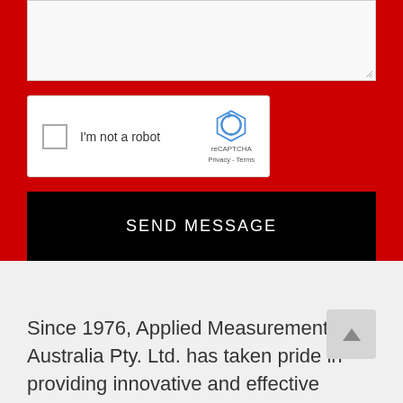[Figure (screenshot): Partially visible textarea input field with resize handle at bottom right, inside a red background section]
[Figure (screenshot): reCAPTCHA widget with checkbox labeled 'I'm not a robot' and reCAPTCHA logo with Privacy and Terms links]
SEND MESSAGE
Since 1976, Applied Measurement Australia Pty. Ltd. has taken pride in providing innovative and effective solutions for applications that involve